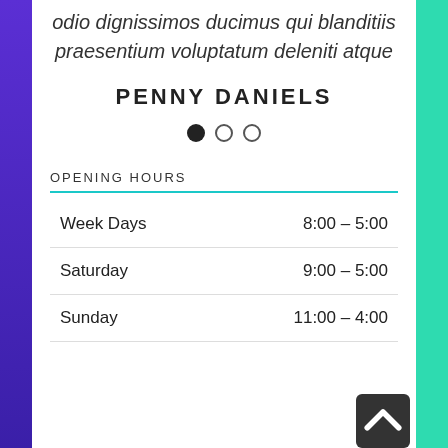odio dignissimos ducimus qui blanditiis praesentium voluptatum deleniti atque
PENNY DANIELS
[Figure (illustration): Three pagination dots: one filled (active), two empty circles]
OPENING HOURS
|  |  |
| --- | --- |
| Week Days | 8:00 – 5:00 |
| Saturday | 9:00 – 5:00 |
| Sunday | 11:00 – 4:00 |